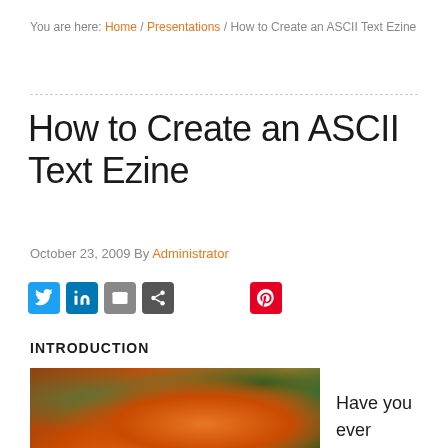You are here: Home / Presentations / How to Create an ASCII Text Ezine
How to Create an ASCII Text Ezine
October 23, 2009 By Administrator
[Figure (infographic): Social sharing icons: Twitter (blue), LinkedIn (blue), Email (grey), Share (grey), Pinterest (red)]
INTRODUCTION
[Figure (photo): Close-up photo of orange/red roses with green leaves in the background]
Have you ever